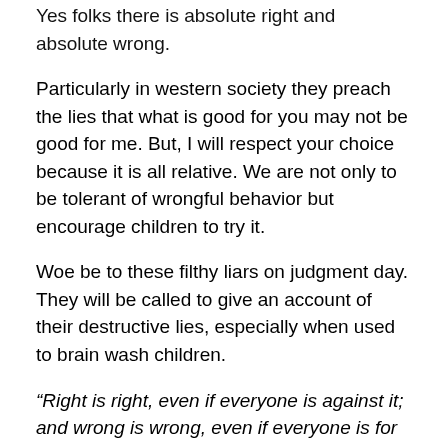Yes folks there is absolute right and absolute wrong.
Particularly in western society they preach the lies that what is good for you may not be good for me. But, I will respect your choice because it is all relative. We are not only to be tolerant of wrongful behavior but encourage children to try it.
Woe be to these filthy liars on judgment day. They will be called to give an account of their destructive lies, especially when used to brain wash children.
“Right is right, even if everyone is against it; and wrong is wrong, even if everyone is for it.” — William Penn
This is particularly pathetic and especially vile and evil when it is taught in churches.
On the opposite side of the coin is calling those who have